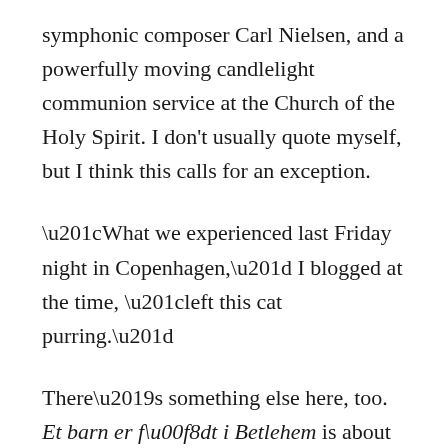symphonic composer Carl Nielsen, and a powerfully moving candlelight communion service at the Church of the Holy Spirit. I don't usually quote myself, but I think this calls for an exception.

“What we experienced last Friday night in Copenhagen,” I blogged at the time, “left this cat purring.”

There’s something else here, too. Et barn er født i Betlehem is about the incarnation. A child is born in Bethlehem, and Jerusalem rejoices. In performance by the National Girls’ Choir — or Sigurd Barrett’s sing-along, for that matter — the song becomes flesh